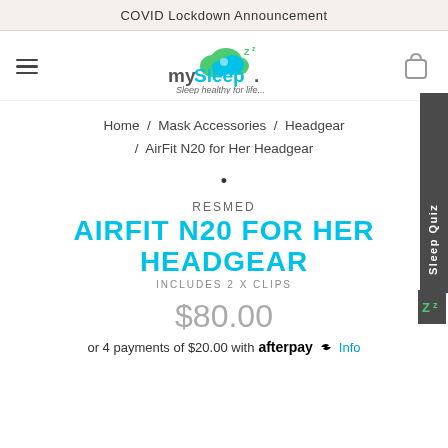COVID Lockdown Announcement
[Figure (logo): mySleep logo with cloud and Zz icons, tagline 'Sleep healthy for life...']
Home / Mask Accessories / Headgear / AirFit N20 for Her Headgear
•
RESMED
AIRFIT N20 FOR HER HEADGEAR
INCLUDES 2 X CLIPS
$80.00
or 4 payments of $20.00 with afterpay Info